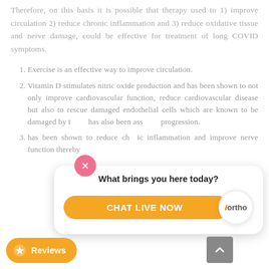Therefore, on this basis it is possible that therapy used to 1) improve circulation 2) reduce chronic inflammation and 3) reduce oxidative tissue and nerve damage, could be effective for treatment of long COVID symptoms.
Exercise is an effective way to improve circulation.
Vitamin D stimulates nitric oxide production and has been shown to not only improve cardiovascular function, reduce cardiovascular disease but also to rescue damaged endothelial cells which are known to be damaged by the... has also been associated with... progression.
...has been shown to reduce chronic inflammation and improve nerve function thereby...